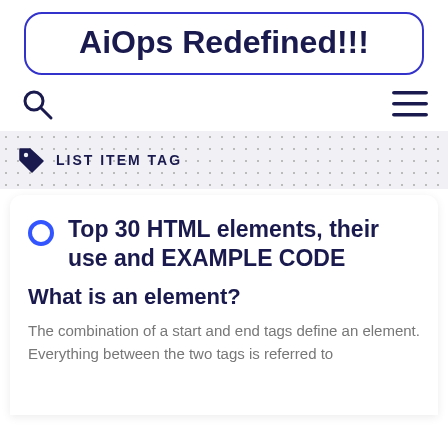AiOps Redefined!!!
[Figure (other): Search icon (magnifying glass) and hamburger menu icon in navigation bar]
LIST ITEM TAG
Top 30 HTML elements, their use and EXAMPLE CODE
What is an element?
The combination of a start and end tags define an element. Everything between the two tags is referred to